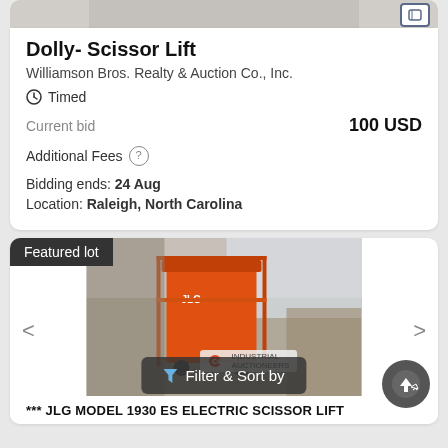[Figure (screenshot): Partial image of a dolly scissor lift item at the top of the first listing card]
Dolly- Scissor Lift
Williamson Bros. Realty & Auction Co., Inc.
Timed
Current bid    100 USD
Additional Fees ?
Bidding ends: 24 Aug
Location: Raleigh, North Carolina
[Figure (photo): Photo of an orange JLG scissor lift machine in a warehouse, shown in the featured lot card]
Filter & Sort by
*** JLG MODEL 1930 ES ELECTRIC SCISSOR LIFT